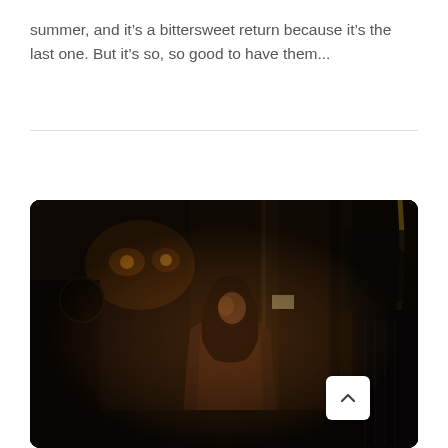summer, and it’s a bittersweet return because it’s the last one. But it’s so, so good to have them...
[Figure (photo): A woman with long dark hair wearing a brown leather jacket stands in a dark, industrial-looking interior with dim orange lights and machinery in the background. A scroll-to-top button is visible in the bottom right corner of the image.]